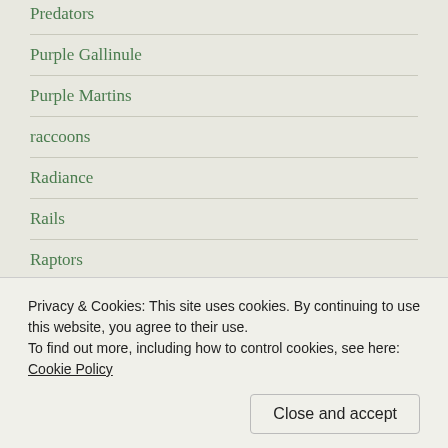Predators
Purple Gallinule
Purple Martins
raccoons
Radiance
Rails
Raptors
Rat Snake
Red Birds
Red Fox
Privacy & Cookies: This site uses cookies. By continuing to use this website, you agree to their use.
To find out more, including how to control cookies, see here: Cookie Policy
Close and accept